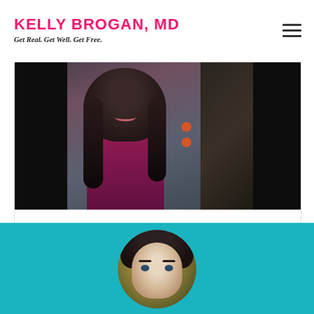KELLY BROGAN, MD — Get Real. Get Well. Get Free.
[Figure (photo): Woman with long dark curly hair wearing a magenta/pink top, smiling, photographed in a dark studio setting with orange lights visible in the background]
Ophora Water
[Figure (photo): Circular portrait of a woman with dark hair and fair skin on a teal background]